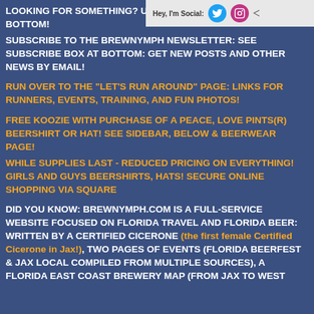LOOKING FOR SOMETHING? USE THE SEARCH BOXES AT BOTTOM!
SUBSCRIBE TO THE BREWNYMPH NEWSLETTER: SEE SUBSCRIBE BOX AT BOTTOM: GET NEW POSTS AND OTHER NEWS BY EMAIL!
RUN OVER TO THE "LET'S RUN AROUND" PAGE: LINKS FOR RUNNERS, EVENTS, TRAINING, AND FUN PHOTOS!
FREE KOOZIE WITH PURCHASE OF A PEACE, LOVE PINTS(R) BEERSHIRT OR HAT! SEE SIDEBAR, BELOW & BEERWEAR PAGE!
WHILE SUPPLIES LAST - REDUCED PRICING ON EVERYTHING! GIRLS AND GUYS BEERSHIRTS, HATS! SECURE ONLINE SHOPPING VIA SQUARE
DID YOU KNOW: BREWNYMPH.COM IS A FULL-SERVICE WEBSITE FOCUSED ON FLORIDA TRAVEL AND FLORIDA BEER: WRITTEN BY A CERTIFIED CICERONE (the first female Certified Cicerone in Jax!), TWO PAGES OF EVENTS (FLORIDA BEERFEST & JAX LOCAL COMPILED FROM MULTIPLE SOURCES), A FLORIDA EAST COAST BREWERY MAP (FROM JAX TO WEST
[Figure (other): Hey, I'm Social: banner with Twitter and Instagram icons on grey background]